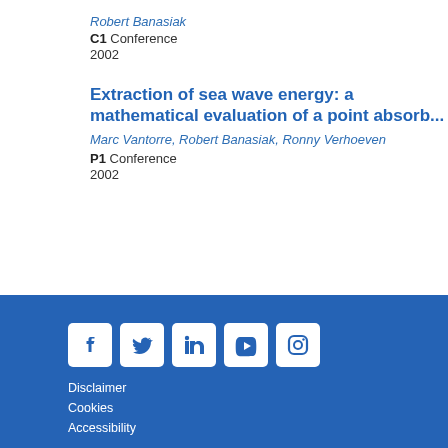Robert Banasiak
C1 Conference
2002
Extraction of sea wave energy: a mathematical evaluation of a point absorb...
Marc Vantorre, Robert Banasiak, Ronny Verhoeven
P1 Conference
2002
[Figure (infographic): Social media icons: Facebook, Twitter, LinkedIn, YouTube, Instagram in white boxes on blue background]
Disclaimer
Cookies
Accessibility